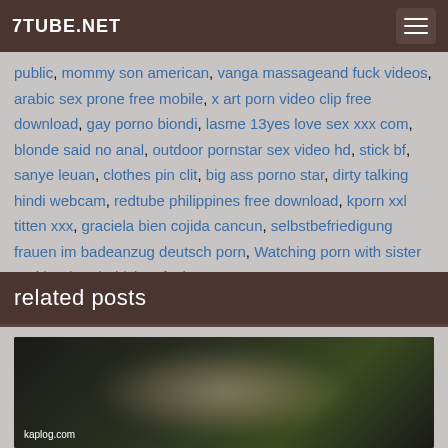7TUBE.NET
public, mommy son american, vanga massageand fuck videos, arabic sex prone free mobile, x art porn video clip free download, gay porno biondi, lasme 13yes love sex xxx com, blonde said no anal, outdoor pornstar sex video hd, stick bf, sanye leuan, clothes pin clit, big ass porno star, dirty talking hindi webcam, redtube philippines free download, kporn xxl titten xxx, graciela bien cojida cancun, selbstbefriedigung frauen im badeanzug deutsch porn, Watching porn with sister and brother, laddyboy fuck
related posts
[Figure (photo): Blurred thumbnail image with kaplog.com watermark]